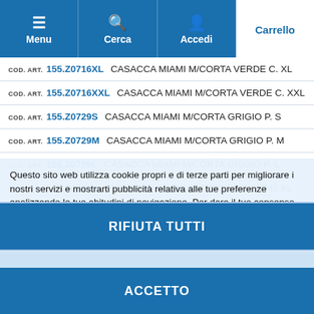Menu | Cerca | Accedi | Carrello
COD. ART. 155.Z0716XL   CASACCA MIAMI M/CORTA VERDE C. XL
COD. ART. 155.Z0716XXL  CASACCA MIAMI M/CORTA VERDE C. XXL
COD. ART. 155.Z0729S    CASACCA MIAMI M/CORTA GRIGIO P. S
COD. ART. 155.Z0729M    CASACCA MIAMI M/CORTA GRIGIO P. M
COD. ART. 155.Z0729L    CASACCA MIAMI M/CORTA GRIGIO P. L
COD. ART. 155.Z0729XL   CASACCA MIAMI M/CORTA GRIGIO P. XL
COD. ART. 155.Z0729XXL  CASACCA MIAMI M/CORTA GRIGIO P. XXL
Questo sito web utilizza cookie propri e di terze parti per migliorare i nostri servizi e mostrarti pubblicità relativa alle tue preferenze analizzando le tue abitudini di navigazione. Per dare il tuo consenso al suo utilizzo, premi il pulsante Accetta.
Piú info   Personalizzare i cookie
RIFIUTA TUTTI
ACCETTO